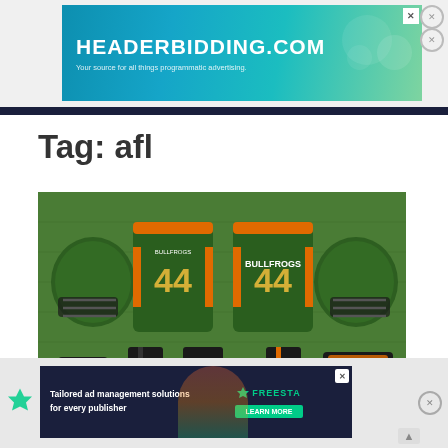[Figure (screenshot): Top banner advertisement for HEADERBIDDING.COM with teal/green gradient background. Text reads 'HEADERBIDDING.COM' and 'Your source for all things programmatic advertising.']
Tag: afl
[Figure (photo): Football team uniform flat lay on green turf background showing two jerseys numbered 44 with BULLFROGS text, two green helmets, cleats, pants, and other gear. Green, orange, and black color scheme.]
[Figure (screenshot): Bottom banner advertisement for FREESTA with dark navy background. Text reads 'Tailored ad management solutions for every publisher' with LEARN MORE button and Freesta logo.]